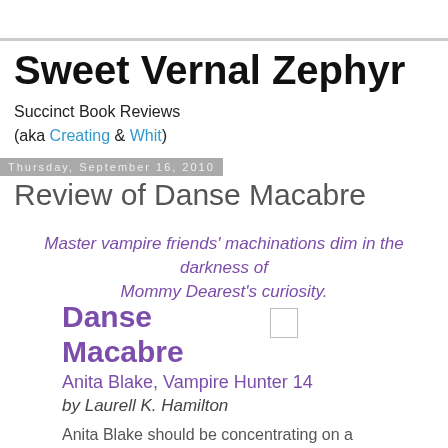Sweet Vernal Zephyr
Succinct Book Reviews (aka Creating & Whit)
Thursday, September 16, 2010
Review of Danse Macabre
Master vampire friends' machinations dim in the darkness of Mommy Dearest's curiosity.
Danse Macabre
Anita Blake, Vampire Hunter 14
by Laurell K. Hamilton
Anita Blake should be concentrating on a